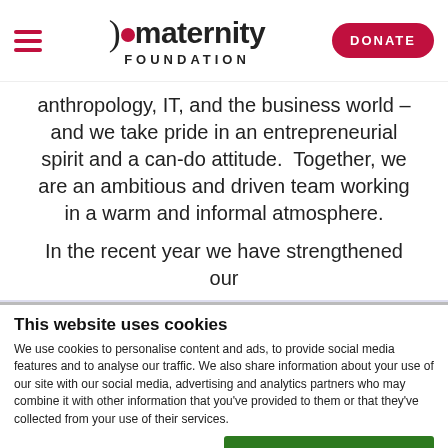maternity FOUNDATION
anthropology, IT, and the business world – and we take pride in an entrepreneurial spirit and a can-do attitude.  Together, we are an ambitious and driven team working in a warm and informal atmosphere.
In the recent year we have strengthened our
This website uses cookies
We use cookies to personalise content and ads, to provide social media features and to analyse our traffic. We also share information about your use of our site with our social media, advertising and analytics partners who may combine it with other information that you've provided to them or that they've collected from your use of their services.
Allow all cookies
Allow selection
Use necessary cookies only
Necessary   Preferences   Statistics   Show